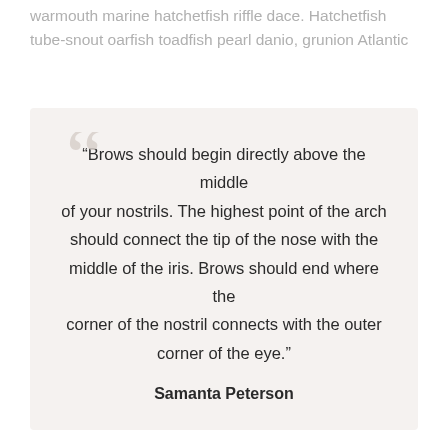warmouth marine hatchetfish riffle dace. Hatchetfish tube-snout oarfish toadfish pearl danio, grunion Atlantic
“Brows should begin directly above the middle of your nostrils. The highest point of the arch should connect the tip of the nose with the middle of the iris. Brows should end where the corner of the nostril connects with the outer corner of the eye.”

Samanta Peterson